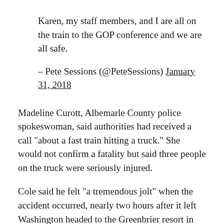Karen, my staff members, and I are all on the train to the GOP conference and we are all safe.
– Pete Sessions (@PeteSessions) January 31, 2018
Madeline Curott, Albemarle County police spokeswoman, said authorities had received a call "about a fast train hitting a truck." She would not confirm a fatality but said three people on the truck were seriously injured.
Cole said he felt "a tremendous jolt" when the accident occurred, nearly two hours after it left Washington headed to the Greenbrier resort in